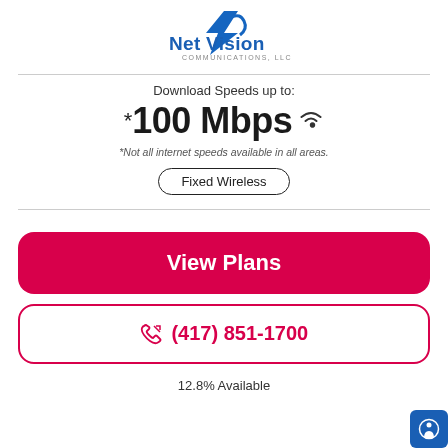[Figure (logo): Net Vision Communications, LLC logo with blue stylized lightning/checkmark icon and blue/gray text]
Download Speeds up to:
*100 Mbps (wifi icon)
*Not all internet speeds available in all areas.
Fixed Wireless
View Plans
(417) 851-1700
12.8% Available